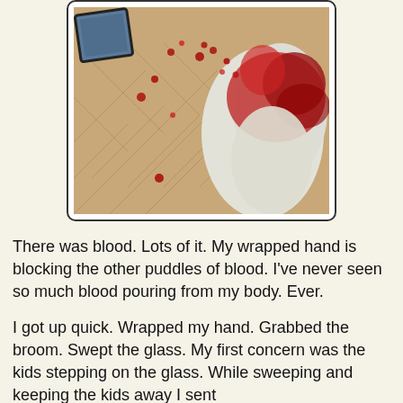[Figure (photo): Photo of a white bandaged/wrapped hand with blood on it, resting on a herringbone wood floor with blood drops scattered around. A mirror or framed picture is visible in the top left corner.]
There was blood. Lots of it. My wrapped hand is blocking the other puddles of blood. I've never seen so much blood pouring from my body. Ever.
I got up quick. Wrapped my hand. Grabbed the broom. Swept the glass. My first concern was the kids stepping on the glass. While sweeping and keeping the kids away I sent